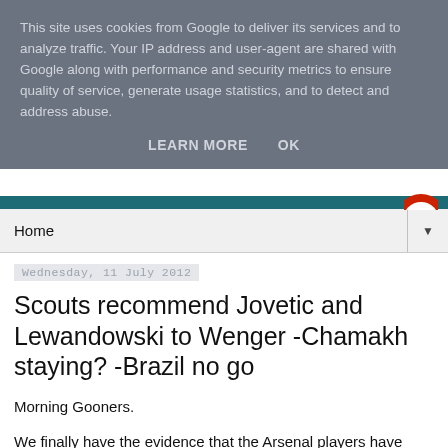This site uses cookies from Google to deliver its services and to analyze traffic. Your IP address and user-agent are shared with Google along with performance and security metrics to ensure quality of service, generate usage statistics, and to detect and address abuse.
LEARN MORE   OK
Home ▼
Wednesday, 11 July 2012
Scouts recommend Jovetic and Lewandowski to Wenger -Chamakh staying? -Brazil no go
Morning Gooners.
We finally have the evidence that the Arsenal players have returned for pre-season training. A cracking set of pictures from the training ground were posted on the official site